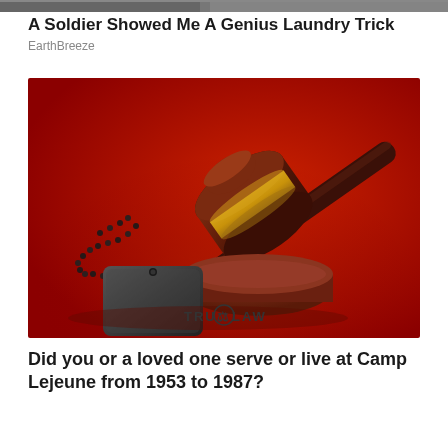[Figure (photo): Top banner: partial photo strip at very top of page, appears dark/grey]
A Soldier Showed Me A Genius Laundry Trick
EarthBreeze
[Figure (photo): Advertisement image on red background showing a wooden judge's gavel on a sound block with a military dog tag and chain on the left. TruLaw logo visible at the bottom center.]
Did you or a loved one serve or live at Camp Lejeune from 1953 to 1987?